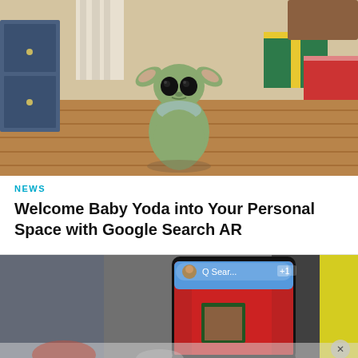[Figure (photo): Baby Yoda (The Child) AR figure standing in a living room with wooden floors, blue cabinet on left, colorful gift boxes on right, curtains in background]
NEWS
Welcome Baby Yoda into Your Personal Space with Google Search AR
[Figure (screenshot): Screenshot of a smartphone showing a Google Search AR interface with a red building/scene, partially cut off at bottom of page]